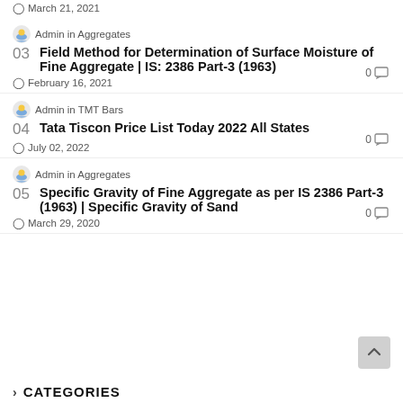March 21, 2021
Admin in Aggregates
03 Field Method for Determination of Surface Moisture of Fine Aggregate | IS: 2386 Part-3 (1963)
February 16, 2021
Admin in TMT Bars
04 Tata Tiscon Price List Today 2022 All States
July 02, 2022
Admin in Aggregates
05 Specific Gravity of Fine Aggregate as per IS 2386 Part-3 (1963) | Specific Gravity of Sand
March 29, 2020
CATEGORIES